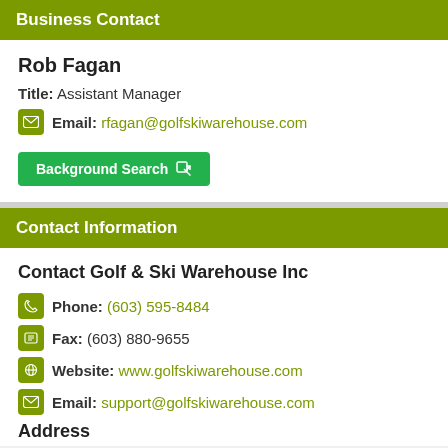Business Contact
Rob Fagan
Title: Assistant Manager
Email: rfagan@golfskiwarehouse.com
Background Search
Contact Information
Contact Golf & Ski Warehouse Inc
Phone: (603) 595-8484
Fax: (603) 880-9655
Website: www.golfskiwarehouse.com
Email: support@golfskiwarehouse.com
Address